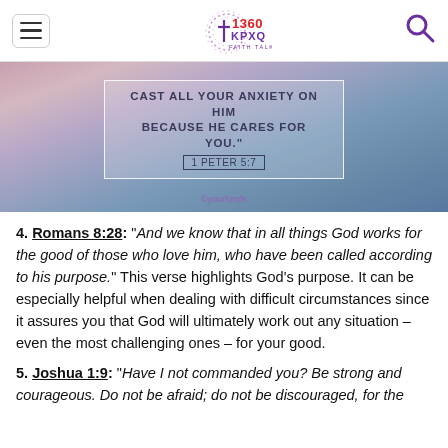1360 KPXQ Faith Talk
[Figure (photo): Hero image with gradient background (peach/purple/blue tones) showing a Bible verse in a white-bordered box: 'CAST ALL YOUR ANXIETY ON HIM BECAUSE HE CARES FOR YOU.' 1 PETER 5:7. Watermark text at bottom.]
4. Romans 8:28: "And we know that in all things God works for the good of those who love him, who have been called according to his purpose." This verse highlights God's purpose. It can be especially helpful when dealing with difficult circumstances since it assures you that God will ultimately work out any situation – even the most challenging ones – for your good.
5. Joshua 1:9: "Have I not commanded you? Be strong and courageous. Do not be afraid; do not be discouraged, for the